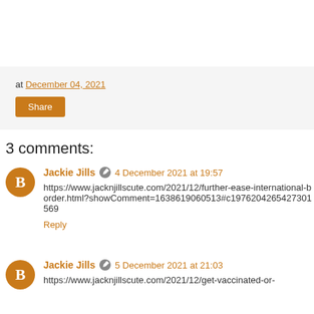at December 04, 2021
Share
3 comments:
Jackie Jills · 4 December 2021 at 19:57
https://www.jacknjillscute.com/2021/12/further-ease-international-border.html?showComment=1638619060513#c1976204265427301569
Reply
Jackie Jills · 5 December 2021 at 21:03
https://www.jacknjillscute.com/2021/12/get-vaccinated-or-